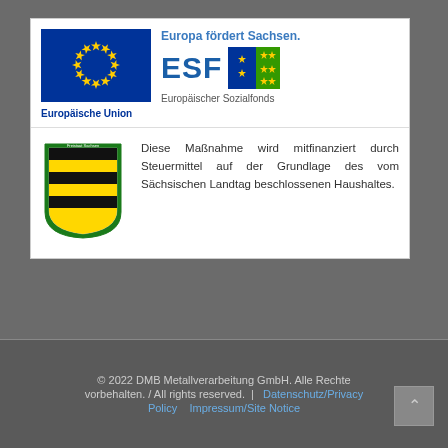[Figure (logo): EU flag blue background with yellow stars circle]
Europäische Union
Europa fördert Sachsen.
[Figure (logo): ESF logo with blue text and EU stars flag]
Europäischer Sozialfonds
[Figure (logo): Freistaat Sachsen coat of arms shield with black and yellow stripes and green border]
Diese Maßnahme wird mitfinanziert durch Steuermittel auf der Grundlage des vom Sächsischen Landtag beschlossenen Haushaltes.
© 2022 DMB Metallverarbeitung GmbH. Alle Rechte vorbehalten. / All rights reserved.  |  Datenschutz/Privacy Policy    Impressum/Site Notice